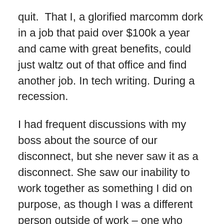quit.  That I, a glorified marcomm dork in a job that paid over $100k a year and came with great benefits, could just waltz out of that office and find another job. In tech writing. During a recession.
I had frequent discussions with my boss about the source of our disconnect, but she never saw it as a disconnect. She saw our inability to work together as something I did on purpose, as though I was a different person outside of work – one who loved social gatherings, cats, and knitting – and just chose to be introverted, sarcastic and OCD at work to piss her off.
In these confrontations, she would tell me that my task execution was fine, but she hated everything else about me. I didn't come to work early enough – she got up at 5 so she could be at work by 7. I didn't stay at work long